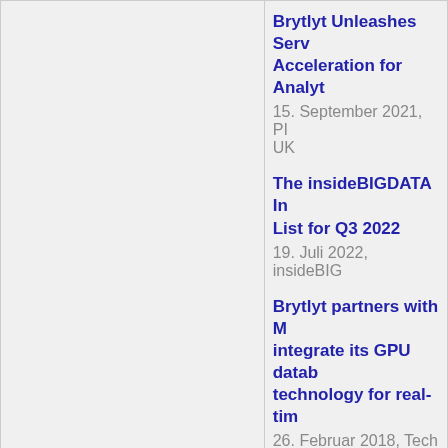Brytlyt Unleashes Serv Acceleration for Analyt
15. September 2021, PI UK
The insideBIGDATA In List for Q3 2022
19. Juli 2022, insideBIG
Brytlyt partners with M integrate its GPU datab technology for real-tim
26. Februar 2018, Tech
bereitgestellt
Jobangebote